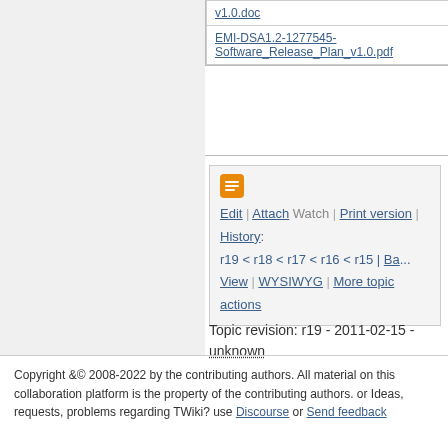| v1.0.doc |
| EMI-DSA1.2-1277545-Software_Release_Plan_v1.0.pdf |
[Figure (screenshot): TWiki edit toolbar icon (orange/brown pencil icon)]
Edit | Attach | Watch | Print version | History: r19 < r18 < r17 < r16 < r15 | Ba... View | WYSIWYG | More topic actions
Topic revision: r19 - 2011-02-15 - unknown
Copyright &© 2008-2022 by the contributing authors. All material on this collaboration platform is the property of the contributing authors. or Ideas, requests, problems regarding TWiki? use Discourse or Send feedback